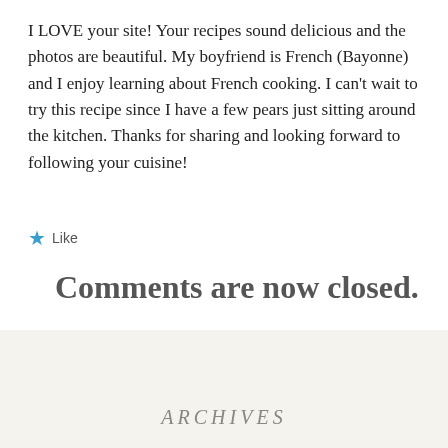I LOVE your site! Your recipes sound delicious and the photos are beautiful. My boyfriend is French (Bayonne) and I enjoy learning about French cooking. I can't wait to try this recipe since I have a few pears just sitting around the kitchen. Thanks for sharing and looking forward to following your cuisine!
★ Like
Comments are now closed.
ARCHIVES